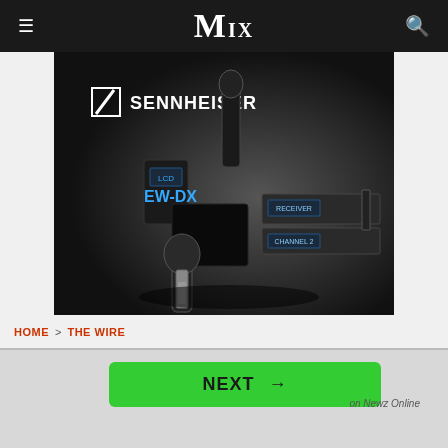MIX
[Figure (photo): Sennheiser EW-DX product advertisement image showing wireless microphone system components including handheld microphone, bodypack transmitter, receiver units on a dark background with 'SENNHEISER' and 'EW-DX' text in white and cyan.]
HOME > THE WIRE
NEXT → on Newz Online